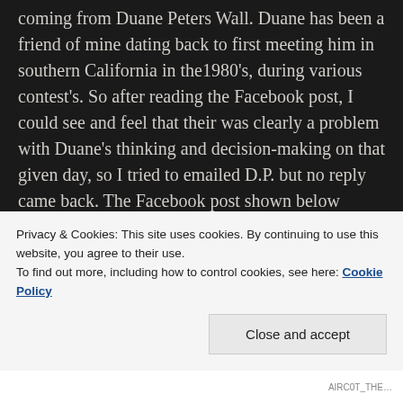coming from Duane Peters Wall. Duane has been a friend of mine dating back to first meeting him in southern California in the1980's, during various contest's. So after reading the Facebook post, I could see and feel that their was clearly a problem with Duane's thinking and decision-making on that given day, so I tried to emailed D.P. but no reply came back. The Facebook post shown below obviously shows that Duane Peters was having a very tumultuous day and anyone who knows The Master Of Disaster and is familiar with his past trials, knows that when Duane falls, he falls hard and I feared this was the beginning of a crash and burn like days of old that all of us his friends have come very accustomed to over the last 30 years. I finally was able to speak with a mutual
Privacy & Cookies: This site uses cookies. By continuing to use this website, you agree to their use.
To find out more, including how to control cookies, see here: Cookie Policy
Close and accept